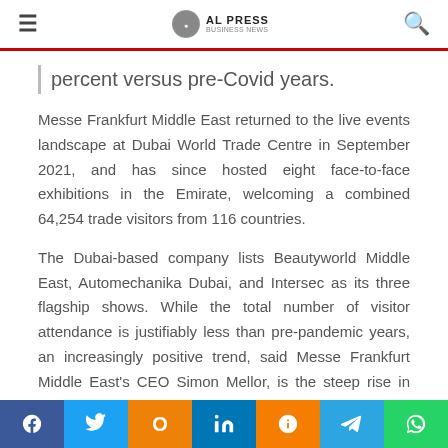AL PRESS
percent versus pre-Covid years.
Messe Frankfurt Middle East returned to the live events landscape at Dubai World Trade Centre in September 2021, and has since hosted eight face-to-face exhibitions in the Emirate, welcoming a combined 64,254 trade visitors from 116 countries.
The Dubai-based company lists Beautyworld Middle East, Automechanika Dubai, and Intersec as its three flagship shows. While the total number of visitor attendance is justifiably less than pre-pandemic years, an increasingly positive trend, said Messe Frankfurt Middle East's CEO Simon Mellor, is the steep rise in visitor registration by the